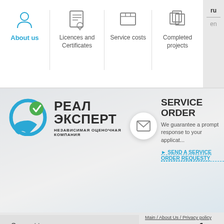About us | Licences and Certificates | Service costs | Completed projects | ru | en
[Figure (logo): РЕАЛ ЭКСПЕРТ logo with blue circle and green checkmark, subtitle: НЕЗАВИСИМАЯ ОЦЕНОЧНАЯ КОМПАНИЯ]
SERVICE ORDER
We guarantee a prompt response to your application
SEND A SERVICE ORDER REQUESTY
Consent to processing of personal information
Terms of use
Main / About Us / Privacy policy
Terms of u
1. GENERAL PROVISIONS
1.1 This bl...